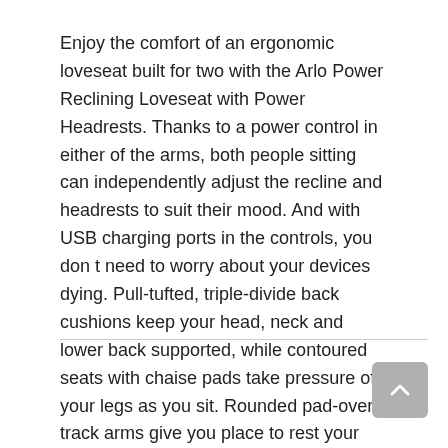Enjoy the comfort of an ergonomic loveseat built for two with the Arlo Power Reclining Loveseat with Power Headrests. Thanks to a power control in either of the arms, both people sitting can independently adjust the recline and headrests to suit their mood. And with USB charging ports in the controls, you don t need to worry about your devices dying. Pull-tufted, triple-divide back cushions keep your head, neck and lower back supported, while contoured seats with chaise pads take pressure off your legs as you sit. Rounded pad-over track arms give you place to rest your forearms and help you say relaxed. With our patented DualFlex Spring System™, you can enjoy the loveseat s pleasing mix of firmness and flexibility for years to come. Choose from over 250 fabric options to create a look that s all your own.